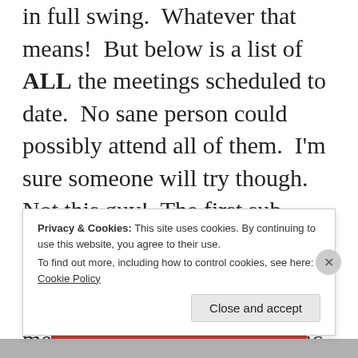in full swing.  Whatever that means!  But below is a list of ALL the meetings scheduled to date.  No sane person could possibly attend all of them.  I'm sure someone will try though.  Not this guy!  The first sub-committee meeting for the Structure group met last Monday, August 28th.  All meetings are open to the public and public comment will be allowed.  Whether you agree or not with
Privacy & Cookies: This site uses cookies. By continuing to use this website, you agree to their use.
To find out more, including how to control cookies, see here: Cookie Policy
Close and accept